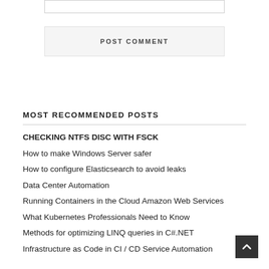[input field]
POST COMMENT
MOST RECOMMENDED POSTS
CHECKING NTFS DISC WITH FSCK
How to make Windows Server safer
How to configure Elasticsearch to avoid leaks
Data Center Automation
Running Containers in the Cloud Amazon Web Services
What Kubernetes Professionals Need to Know
Methods for optimizing LINQ queries in C#.NET
Infrastructure as Code in CI / CD Service Automation